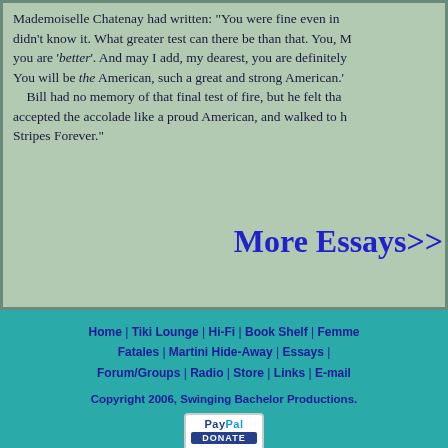Mademoiselle Chatenay had written: 'You were fine even in didn't know it. What greater test can there be than that. You, M you are 'better'. And may I add, my dearest, you are definitely You will be the American, such a great and strong American.' Bill had no memory of that final test of fire, but he felt tha accepted the accolade like a proud American, and walked to h Stripes Forever."
More Essays>>
Home | Tiki Lounge | Hi-Fi | Book Shelf | Femme Fatales | Martini Hide-Away | Essays | Forum/Groups | Radio | Store | Links | E-mail
Copyright 2006, Swinging Bachelor Productions.
[Figure (logo): PayPal Donate button]